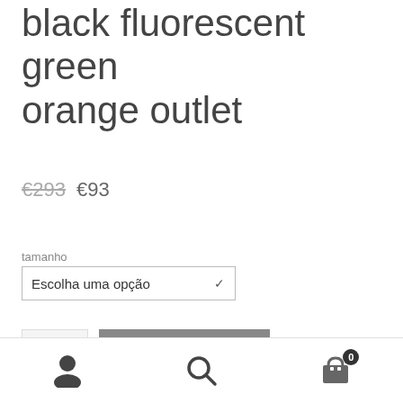black fluorescent green orange outlet
€293  €93
tamanho
Escolha uma opção
1
Adicionar
Navigation icons: user, search, cart (0)